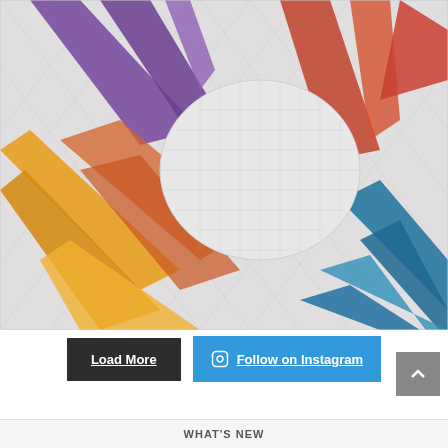[Figure (photo): Close-up photograph of a colorful quilted fabric featuring a starburst/pinwheel pattern with purple, orange, yellow, and blue fabric rays on a white quilted background with diamond stitching pattern. A white circular/oval center element is visible.]
Load More
Follow on Instagram
WHAT'S NEW